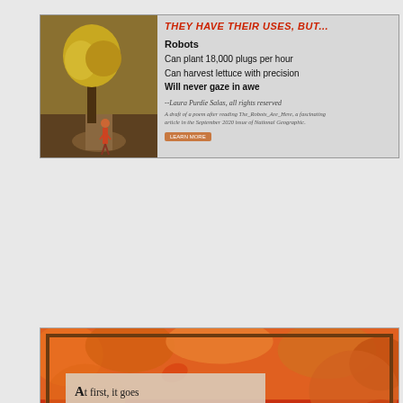[Figure (illustration): Top card with photo of person standing under yellow autumn tree on left; right side has red italic title 'THEY HAVE THEIR USES, BUT...' followed by text about Robots, attribution to Laura Purdie Salas, and a footnote about a poem after reading The_Robots_Are_Here in National Geographic.]
[Figure (illustration): Bottom card showing autumn orange/red foliage background with decorative border, a semi-transparent poem box with acrostic AUTUMN poem lines, and a green 'Forest Ave' street sign at bottom left.]